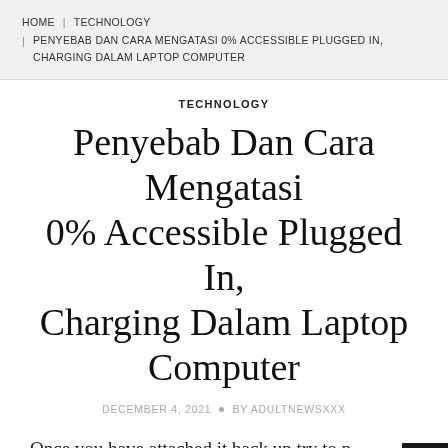HOME | TECHNOLOGY | PENYEBAB DAN CARA MENGATASI 0% ACCESSIBLE PLUGGED IN, CHARGING DALAM LAPTOP COMPUTER
TECHNOLOGY
Penyebab Dan Cara Mengatasi 0% Accessible Plugged In, Charging Dalam Laptop Computer
DECEMBER 4, 2021 ◆ BY ADULTNEWSXXX
Once you have attached it back up try to p... the charger and see if the status is transformed